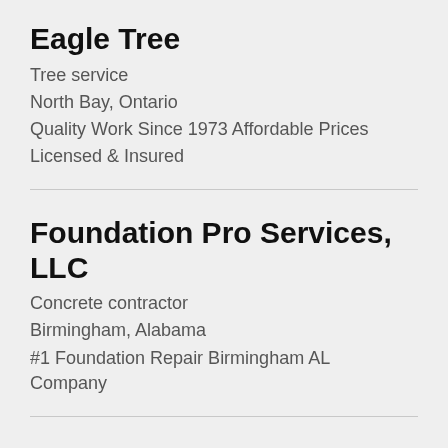Eagle Tree
Tree service
North Bay, Ontario
Quality Work Since 1973 Affordable Prices
Licensed & Insured
Foundation Pro Services, LLC
Concrete contractor
Birmingham, Alabama
#1 Foundation Repair Birmingham AL Company
Ntvan